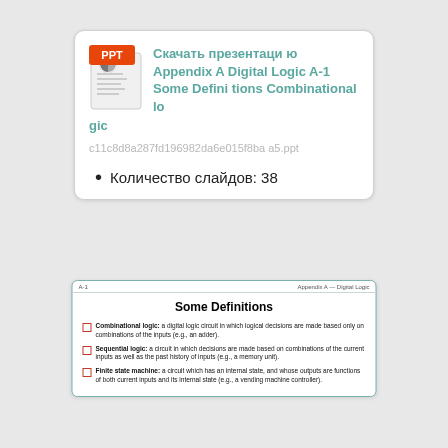[Figure (screenshot): PPT file card showing download link for 'Appendix A Digital Logic A-1 Some Definitions Combinational logic' presentation with hash filename and slide count]
Скачать презентацию Appendix A Digital Logic A-1 Some Definitions Combinational logic
c11c8d8a287fd196982da6e015f8baa5.ppt
Количество слайдов: 38
[Figure (screenshot): Slide preview showing 'Some Definitions' with three bullet points about Combinational logic, Sequential logic, and Finite state machine]
Some Definitions
Combinational logic: a digital logic circuit in which logical decisions are made based only on combinations of the inputs (e.g., an adder).
Sequential logic: a circuit in which decisions are made based on combinations of the current inputs as well as the past history of inputs (e.g., a memory unit).
Finite state machine: a circuit which has an internal state, and whose outputs are functions of both current inputs and its internal state (e.g., a vending machine controller).